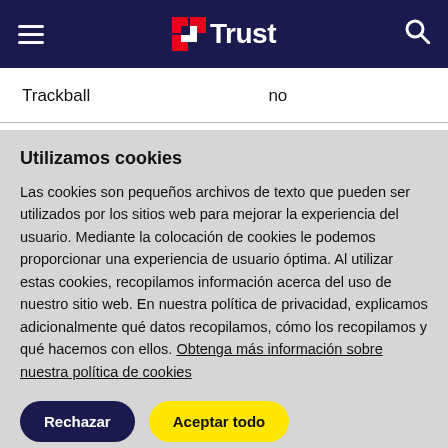Trust (navigation bar with hamburger menu, Trust logo, and search icon)
| Property | Value |
| --- | --- |
| Trackball | no |
Utilizamos cookies
Las cookies son pequeños archivos de texto que pueden ser utilizados por los sitios web para mejorar la experiencia del usuario. Mediante la colocación de cookies le podemos proporcionar una experiencia de usuario óptima. Al utilizar estas cookies, recopilamos información acerca del uso de nuestro sitio web. En nuestra política de privacidad, explicamos adicionalmente qué datos recopilamos, cómo los recopilamos y qué hacemos con ellos. Obtenga más información sobre nuestra política de cookies
Rechazar
Aceptar todo
Configuración de cookies'